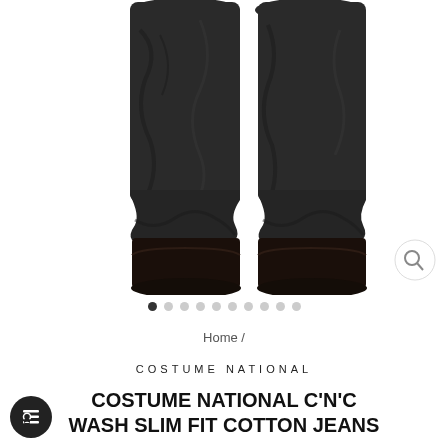[Figure (photo): Close-up photo of a person's legs wearing dark slim-fit jeans and dark brown leather boots against a white background]
Home /
COSTUME NATIONAL
COSTUME NATIONAL C'N'C WASH SLIM FIT COTTON JEANS